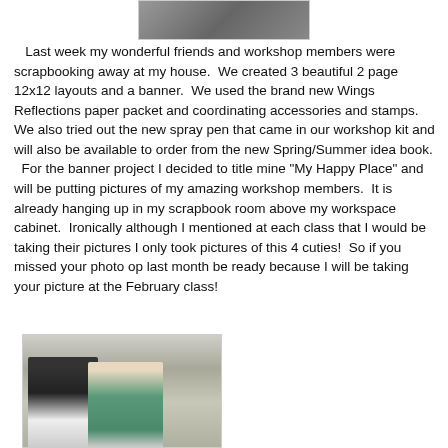[Figure (photo): Partial photo of people at top of page, cropped]
Last week my wonderful friends and workshop members were scrapbooking away at my house.  We created 3 beautiful 2 page 12x12 layouts and a banner.  We used the brand new Wings Reflections paper packet and coordinating accessories and stamps.  We also tried out the new spray pen that came in our workshop kit and will also be available to order from the new Spring/Summer idea book.
  For the banner project I decided to title mine "My Happy Place" and will be putting pictures of my amazing workshop members.  It is already hanging up in my scrapbook room above my workspace cabinet.  Ironically although I mentioned at each class that I would be taking their pictures I only took pictures of this 4 cuties!  So if you missed your photo op last month be ready because I will be taking your picture at the February class!
[Figure (photo): Photo of two women posing together, one with dark hair and one with blonde hair, partial view at bottom of page]